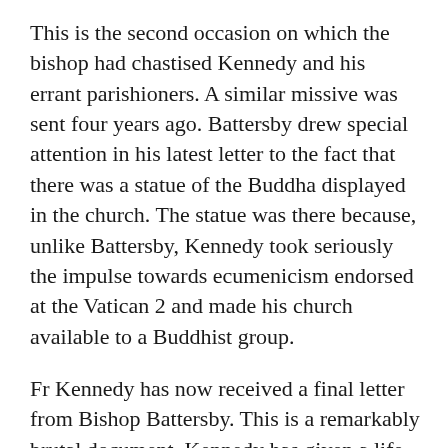This is the second occasion on which the bishop had chastised Kennedy and his errant parishioners. A similar missive was sent four years ago. Battersby drew special attention in his latest letter to the fact that there was a statue of the Buddha displayed in the church. The statue was there because, unlike Battersby, Kennedy took seriously the impulse towards ecumenicism endorsed at the Vatican 2 and made his church available to a Buddhist group.
Fr Kennedy has now received a final letter from Bishop Battersby. This is a remarkably brutal document. Kennedy has given a life time to his parishioners and the Church. Yet Battersby sacks him, offers to “look after him” if he resigns and then threatens xcommunication if he does not go quietly. There is, it is true, some pious cant about the Mother of God and a selfpitying whine asking for